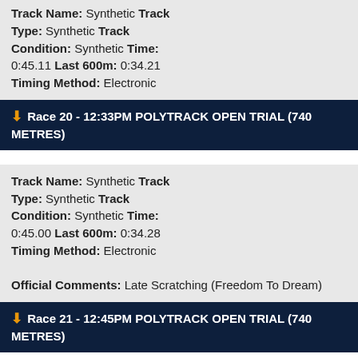Track Name: Synthetic Track Type: Synthetic Track Condition: Synthetic Time: 0:45.11 Last 600m: 0:34.21 Timing Method: Electronic
Race 20 - 12:33PM POLYTRACK OPEN TRIAL (740 METRES)
Track Name: Synthetic Track Type: Synthetic Track Condition: Synthetic Time: 0:45.00 Last 600m: 0:34.28 Timing Method: Electronic Official Comments: Late Scratching (Freedom To Dream)
Race 21 - 12:45PM POLYTRACK OPEN TRIAL (740 METRES)
Track Name: Synthetic Track Type: Synthetic Track Condition: Synthetic Time: